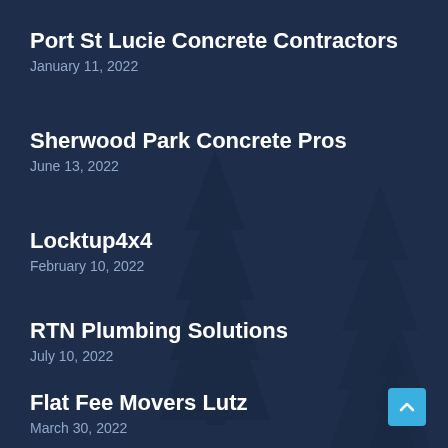Port St Lucie Concrete Contractors
January 11, 2022
Sherwood Park Concrete Pros
June 13, 2022
Locktup4x4
February 10, 2022
RTN Plumbing Solutions
July 10, 2022
Flat Fee Movers Lutz
March 30, 2022